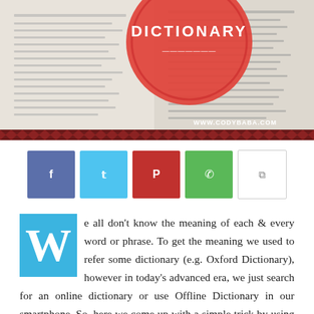[Figure (photo): Dictionary pages with a circular red badge overlay showing 'DICTIONARY' text, and www.codybaba.com watermark. Decorative dark red chevron border at bottom.]
[Figure (infographic): Five social sharing buttons: Facebook (blue-purple), Twitter (light blue), Pinterest (red), WhatsApp (green), Copy (white/gray)]
We all don't know the meaning of each & every word or phrase. To get the meaning we used to refer some dictionary (e.g. Oxford Dictionary), however in today's advanced era, we just search for an online dictionary or use Offline Dictionary in our smartphone. So, here we come up with a simple trick by using "Google" itself.